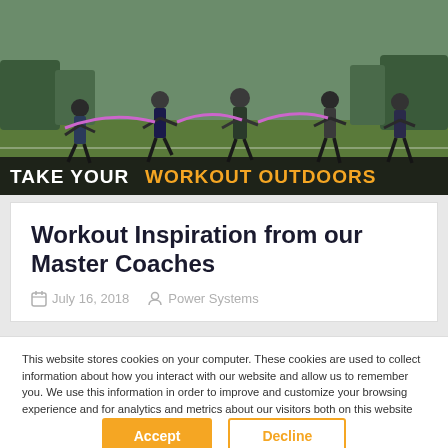[Figure (photo): People exercising outdoors on a grass field with resistance bands, with trees in background. Banner reads TAKE YOUR WORKOUT OUTDOORS.]
Workout Inspiration from our Master Coaches
July 16, 2018   Power Systems
This website stores cookies on your computer. These cookies are used to collect information about how you interact with our website and allow us to remember you. We use this information in order to improve and customize your browsing experience and for analytics and metrics about our visitors both on this website and other media. To find out more about the cookies we use, see our Privacy Policy.